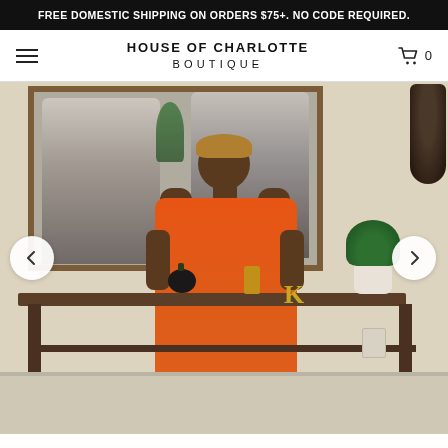FREE DOMESTIC SHIPPING ON ORDERS $75+. NO CODE REQUIRED.
HOUSE OF CHARLOTTE
BOUTIQUE
[Figure (photo): Woman wearing an orange strapless smocked maxi dress standing in front of a wooden console table. Behind her is a large black-and-white framed portrait of two women. A plant and small decorative items are visible on the table. Left and right navigation arrows are overlaid on the image.]